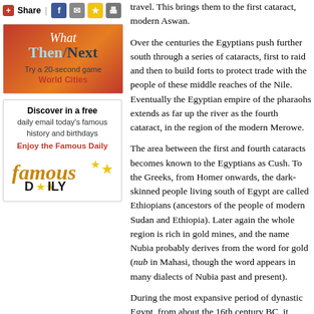[Figure (screenshot): Share bar with plus icon, Share text, separator, Facebook, email, star, and print icon buttons]
[Figure (illustration): What Then Next advertisement box with red-orange gradient background. Text reads 'What Then Next - Try a 20-second game - World Cities']
[Figure (illustration): Famous Daily advertisement box. Text: 'Discover in a free daily email today's famous history and birthdays. Enjoy the Famous Daily.' with Famous Daily logo.]
travel. This brings them to the first cataract, modern Aswan.
Over the centuries the Egyptians push further south through a series of cataracts, first to raid and then to build forts to protect trade with the people of these middle reaches of the Nile. Eventually the Egyptian empire of the pharaohs extends as far up the river as the fourth cataract, in the region of the modern Merowe.
The area between the first and fourth cataracts becomes known to the Egyptians as Cush. To the Greeks, from Homer onwards, the dark-skinned people living south of Egypt are called Ethiopians (ancestors of the people of modern Sudan and Ethiopia). Later again the region south of the third cataract, Khartoum becomes widely familiar under the name Nubia. This derives from the whole region is rich in gold mines, and the name Nubia probably derives from the word for gold (nub in Mahasi, though the word appears in many dialects of Nubia past and present).
During the most expansive period of dynastic Egypt, from about the 16th century BC, it becomes conventional for pharaohs to boast of their exploits in monuments and proud boundary inscriptions.
Thutmose I, in about 1520 BC, penetrates further than any of his predecessors and leaves an inscription some way south of the fourth cataract at Hamad. In the north the most flamboyant shrine is at Abu Simbel, with its four colossal statues of Ramses II, carved in the rock face above the Nile at Abu Simbel in about 1250 BC.
As in any outpost of a long-lasting empire, the colonized people gradually adopts the customs and beliefs of their imperial masters. By the time the Cushite dynasty, established at some time before the 8th century BC with its capital city at Napata (near modern in style. And the Cushite god by this time is